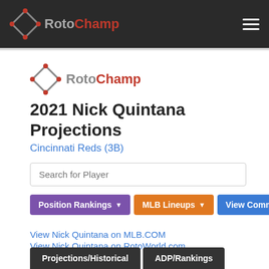RotoChamp
[Figure (logo): RotoChamp diamond logo in content area]
2021 Nick Quintana Projections
Cincinnati Reds (3B)
Search for Player
Position Rankings | MLB Lineups | View Comments
View Nick Quintana on MLB.COM
View Nick Quintana on RotoWorld.com
Projections/Historical | ADP/Rankings